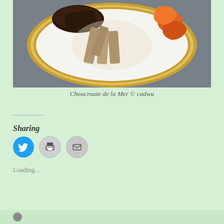[Figure (photo): A white plate with gold rim containing Choucroute de la Mer — includes seared fish fillet, braised bamboo shoots or tofu pieces in brown sauce, and orange shrimp, photographed from above on a gray surface.]
Choucroute de la Mer © cadwu
Sharing
[Figure (other): Three circular social sharing buttons: Twitter (blue with bird icon), Print (gray with printer icon), Email (gray with envelope icon)]
Loading...